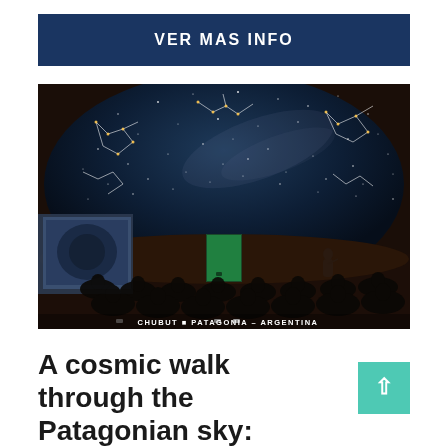VER MAS INFO
[Figure (photo): Interior of a planetarium dome showing a star map with constellations projected on the ceiling, an audience seated in reclining chairs, a presenter at the front, and a screen on the left showing space imagery. Text overlay at bottom reads: CHUBUT • PATAGONIA – ARGENTINA]
A cosmic walk through the Patagonian sky: